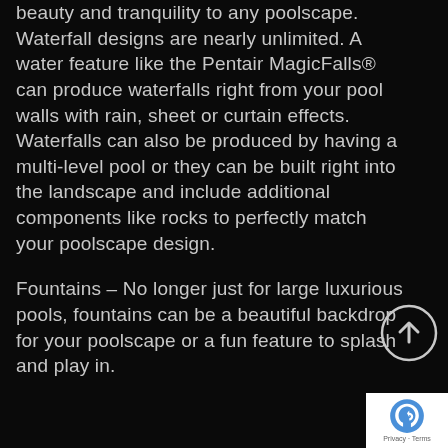beauty and tranquility to any poolscape. Waterfall designs are nearly unlimited. A water feature like the Pentair MagicFalls® can produce waterfalls right from your pool walls with rain, sheet or curtain effects. Waterfalls can also be produced by having a multi-level pool or they can be built right into the landscape and include additional components like rocks to perfectly match your poolscape design.
Fountains – No longer just for large luxurious pools, fountains can be a beautiful backdrop for your poolscape or a fun feature to splash and play in.
[Figure (other): Back to top button — circular arrow-up icon with grey border]
[Figure (logo): Google reCAPTCHA badge with blue/grey logo and Privacy - Terms links]